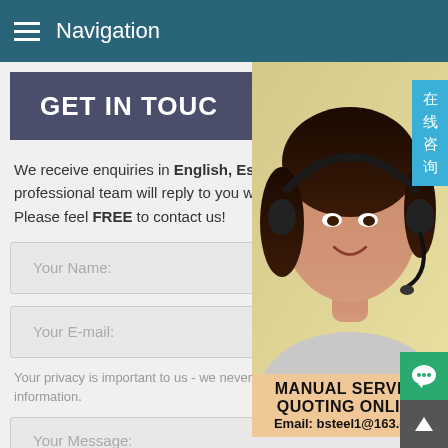Navigation
GET IN TOUCH
We receive enquiries in English, Espa... professional team will reply to you withi... Please feel FREE to contact us!
[Figure (photo): Customer service woman wearing headset, smiling]
Your Name:
Your E-mail:
Your privacy is important to us - we never sell or share your information.
Your Message:
MANUAL SERVICE
QUOTING ONLINE
Email: bsteel1@163.com